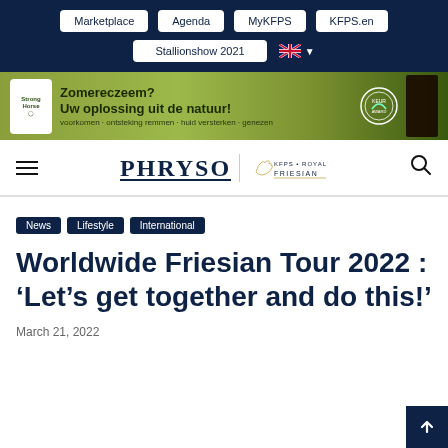Marketplace | Agenda | MyKFPS | KFPS.en | Stallionshow 2021
[Figure (illustration): Green advertisement banner for Strong Horse product: Zomereczeem? Uw oplossing uit de natuur! voorkomen · ontsteking remmen · huid versterken · genezen]
PHRYSO — KFPS · ROYAL FRIESIAN
News
Lifestyle
International
Worldwide Friesian Tour 2022 : ‘Let’s get together and do this!’
March 21, 2022